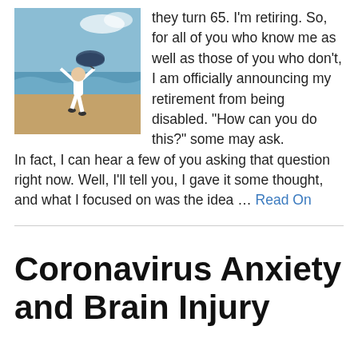[Figure (photo): Person in white clothes jumping joyfully on a beach with waves, holding an umbrella or jacket up in the air]
they turn 65. I'm retiring. So, for all of you who know me as well as those of you who don't, I am officially announcing my retirement from being disabled. "How can you do this?" some may ask. In fact, I can hear a few of you asking that question right now. Well, I'll tell you, I gave it some thought, and what I focused on was the idea ... Read On
Coronavirus Anxiety and Brain Injury